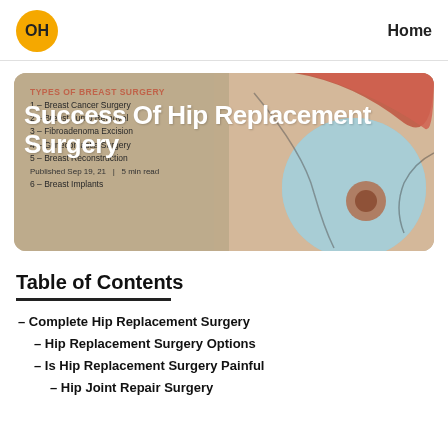OH  Home
[Figure (illustration): Hero card showing medical illustration of breast anatomy on the right side with a coral/salmon colored background area. On the left, overlaid text lists 'TYPES OF BREAST SURGERY' with items: 1-Breast Cancer Surgery, 2-Breast Lump Removal, 3-Fibroadenoma Excision, 4-Gynecomastia Surgery, 5-Breast Reconstruction, 6-Breast Implants. Published Sep 19, 21 | 5 min read. Overlaying white bold text reads 'Success Of Hip Replacement Surgery'.]
Table of Contents
– Complete Hip Replacement Surgery
– Hip Replacement Surgery Options
– Is Hip Replacement Surgery Painful
– Hip Joint Repair Surgery